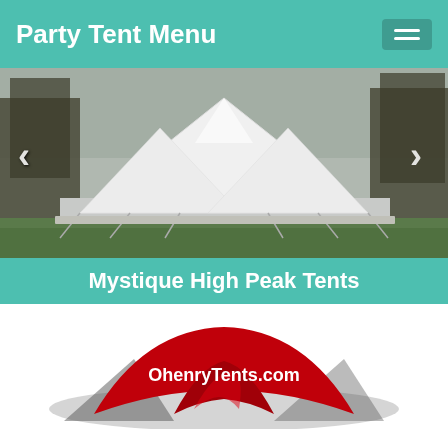Party Tent Menu
[Figure (photo): White high peak pole tent set up outdoors surrounded by trees and green grass, with carousel navigation arrows on left and right]
Mystique High Peak Tents
[Figure (logo): OhenryTents.com logo — red tent shape with white text on dark shadow background]
High Peak Pole Tent Instructions & Floor Plans
Installation Instructions And Floor Plans For Ohenry